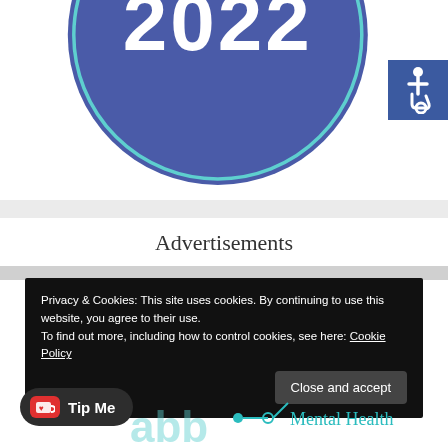[Figure (illustration): Partially visible blue circle badge with text '2022' in large white bold numerals, with teal/cyan circular border outline. Bottom half visible, cropped at top of frame.]
[Figure (illustration): Accessibility (wheelchair) icon in white on blue/navy square background, positioned at top right corner.]
Advertisements
Privacy & Cookies: This site uses cookies. By continuing to use this website, you agree to their use.
To find out more, including how to control cookies, see here: Cookie Policy
[Figure (illustration): Dark rounded rectangle button labeled 'Close and accept']
[Figure (illustration): Dark rounded pill button with Ko-fi cup icon and text 'Tip Me']
[Figure (illustration): Partial 'abb' letters in light teal/cyan watermark style at bottom left, and 'Mental Health' text with network/node diagram at bottom right in teal.]